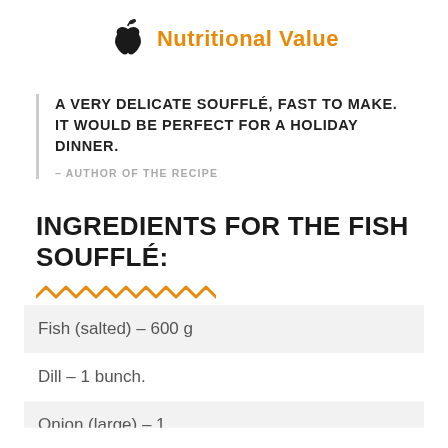Nutritional Value
A VERY DELICATE SOUFFLÉ, FAST TO MAKE. IT WOULD BE PERFECT FOR A HOLIDAY DINNER.
– AUTHOR OF THE RECIPE
INGREDIENTS FOR THE FISH SOUFFLÉ:
Fish (salted) – 600 g
Dill – 1 bunch.
Onion (large) – 1